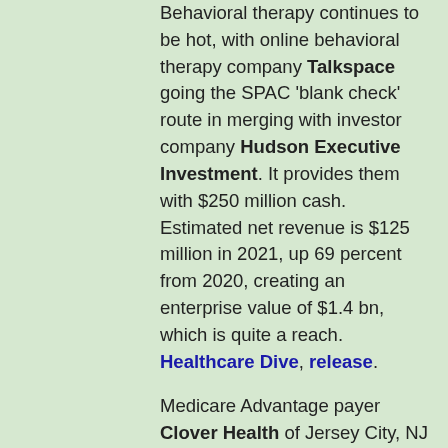Behavioral therapy continues to be hot, with online behavioral therapy company Talkspace going the SPAC 'blank check' route in merging with investor company Hudson Executive Investment. It provides them with $250 million cash. Estimated net revenue is $125 million in 2021, up 69 percent from 2020, creating an enterprise value of $1.4 bn, which is quite a reach. Healthcare Dive, release.
Medicare Advantage payer Clover Health of Jersey City, NJ also went the SPAC route this week with Social Capital Hedosophia Holdings Corp. III, giving it an enterprise value of approximately $3.7 billion. Clover Health styles itself as a health tech company as it analyzes member health and behavioral data to improve medical outcomes and lower costs for patients, many of whom have multiple chronic conditions or are classified as underserved. Release